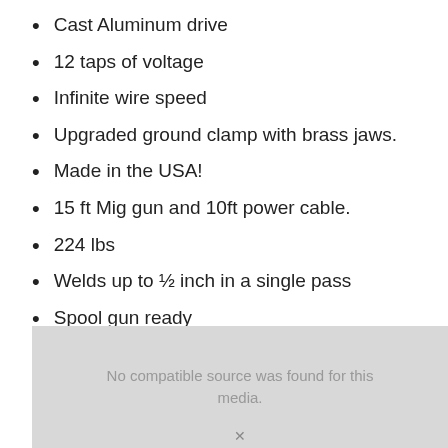Cast Aluminum drive
12 taps of voltage
Infinite wire speed
Upgraded ground clamp with brass jaws.
Made in the USA!
15 ft Mig gun and 10ft power cable.
224 lbs
Welds up to ½ inch in a single pass
Spool gun ready
Holds up to a 45 lb wire wheel
5/3/1 warranty
[Figure (other): Video placeholder showing 'No compatible source was found for this media.' message in grey box]